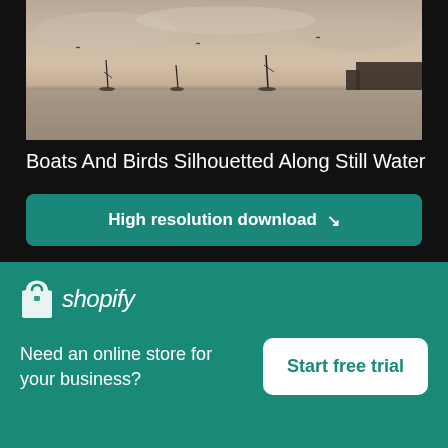[Figure (photo): Boats and birds silhouetted along still water at dusk, muted sky tones]
Boats And Birds Silhouetted Along Still Water
High resolution download ↓
[Figure (photo): Partial sunset sky photo with warm orange tones and dark clouds, partially visible]
[Figure (logo): Shopify logo with shopping bag icon and italic shopify wordmark on teal background]
Need an online store for your business?
Start free trial